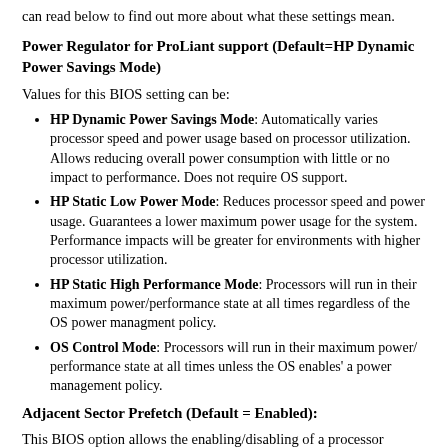can read below to find out more about what these settings mean.
Power Regulator for ProLiant support (Default=HP Dynamic Power Savings Mode)
Values for this BIOS setting can be:
HP Dynamic Power Savings Mode: Automatically varies processor speed and power usage based on processor utilization. Allows reducing overall power consumption with little or no impact to performance. Does not require OS support.
HP Static Low Power Mode: Reduces processor speed and power usage. Guarantees a lower maximum power usage for the system. Performance impacts will be greater for environments with higher processor utilization.
HP Static High Performance Mode: Processors will run in their maximum power/performance state at all times regardless of the OS power managment policy.
OS Control Mode: Processors will run in their maximum power/ performance state at all times unless the OS enables' a power management policy.
Adjacent Sector Prefetch (Default = Enabled):
This BIOS option allows the enabling/disabling of a processor